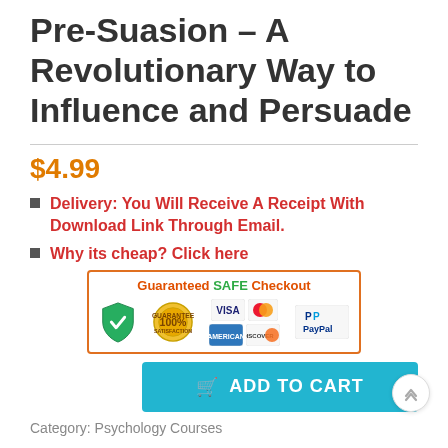Pre-Suasion – A Revolutionary Way to Influence and Persuade
$4.99
Delivery: You Will Receive A Receipt With Download Link Through Email.
Why its cheap? Click here
[Figure (infographic): Guaranteed SAFE Checkout badge with green shield checkmark, 100% satisfaction guarantee gold badge, VISA, Mastercard, American Express, Discover, and PayPal logos inside an orange border box]
ADD TO CART
Category: Psychology Courses